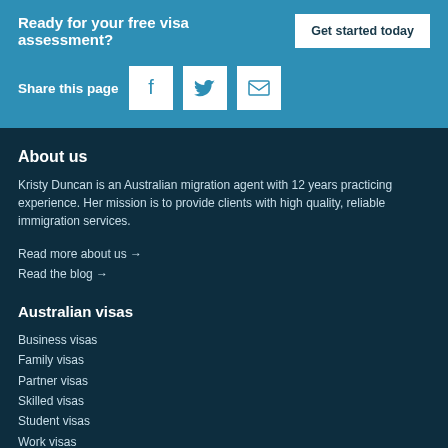Ready for your free visa assessment?
Get started today
Share this page
About us
Kristy Duncan is an Australian migration agent with 12 years practicing experience. Her mission is to provide clients with high quality, reliable immigration services.
Read more about us →
Read the blog →
Australian visas
Business visas
Family visas
Partner visas
Skilled visas
Student visas
Work visas